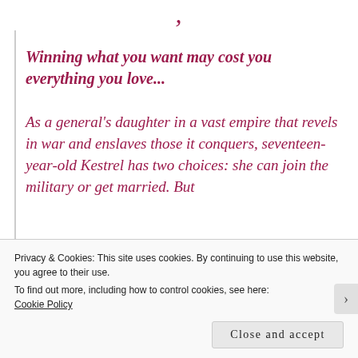,
Winning what you want may cost you everything you love...
As a general's daughter in a vast empire that revels in war and enslaves those it conquers, seventeen-year-old Kestrel has two choices: she can join the military or get married. But
Privacy & Cookies: This site uses cookies. By continuing to use this website, you agree to their use.
To find out more, including how to control cookies, see here:
Cookie Policy
Close and accept